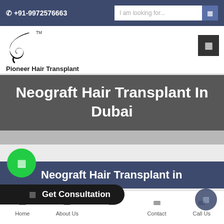📞 +91-9972576663  |  I am looking for...
[Figure (logo): Pioneer Hair Transplant logo with wing/feather graphic and TM symbol]
Neograft Hair Transplant In Dubai
Neograft Hair Transplant in
Get Consultation
Home  About Us  Our Range  Contact  Call Us